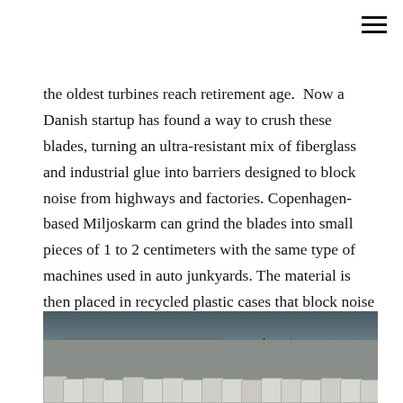the oldest turbines reach retirement age. Now a Danish startup has found a way to crush these blades, turning an ultra-resistant mix of fiberglass and industrial glue into barriers designed to block noise from highways and factories. Copenhagen-based Miljoskarm can grind the blades into small pieces of 1 to 2 centimeters with the same type of machines used in auto junkyards. The material is then placed in recycled plastic cases that block noise at least at the same level as barriers made from aluminum and mineral wool, with less maintenance required. - Bloomberg Green
[Figure (photo): Aerial or elevated photo of what appears to be an industrial facility with large cylindrical white objects/barrels in the foreground, a building structure, and trees in the background under an overcast sky.]